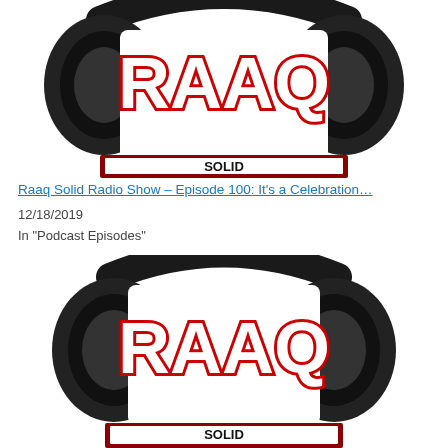[Figure (logo): Raaq Solid Radio Show logo featuring large black headphones with graffiti-style 'RAAQ' text in white with red outline, and bold block lettering below]
Raaq Solid Radio Show – Episode 100: It's a Celebration…
12/18/2019
In "Podcast Episodes"
[Figure (logo): Raaq Solid Radio Show logo featuring large black headphones with graffiti-style 'RAAQ' text in white with red outline, and bold block lettering below (second instance)]